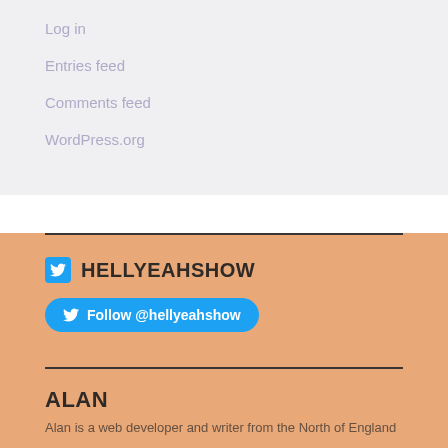Log in
Entries feed
Comments feed
WordPress.org
HELLYEAHSHOW
Follow @hellyeahshow
ALAN